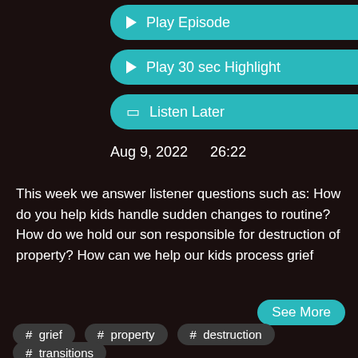Play Episode
Play 30 sec Highlight
Listen Later
Aug 9, 2022   26:22
This week we answer listener questions such as: How do you help kids handle sudden changes to routine? How do we hold our son responsible for destruction of property? How can we help our kids process grief
See More
# grief
# property
# destruction
# transitions